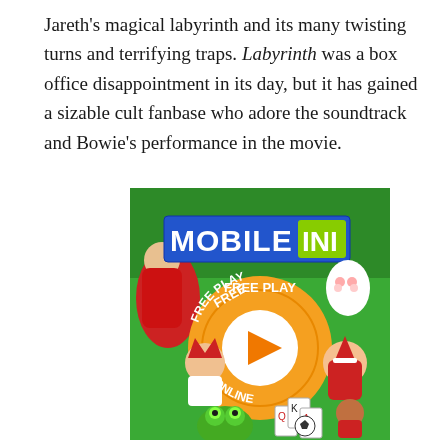Jareth's magical labyrinth and its many twisting turns and terrifying traps. Labyrinth was a box office disappointment in its day, but it has gained a sizable cult fanbase who adore the soundtrack and Bowie's performance in the movie.
[Figure (illustration): MobileIni advertisement banner showing colorful cartoon game characters, with 'MOBILE INI' logo at top, a large orange circle with 'FREE PLAY ONLINE' text and a play button in the center, surrounded by various game characters including a warrior, a boy with red hair, a frog creature, a ghost, Santa Claus, playing cards, and a soccer player child.]